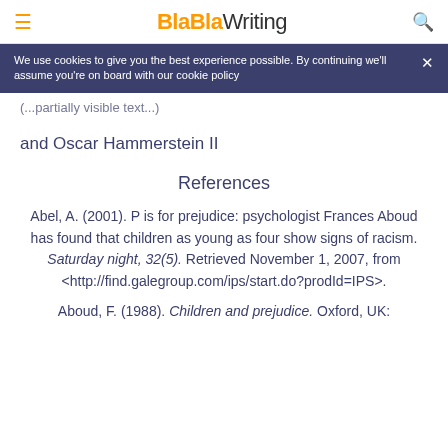BlaBlaWriting
We use cookies to give you the best experience possible. By continuing we'll assume you're on board with our cookie policy
(partial text cut off)
and Oscar Hammerstein II
References
Abel, A. (2001). P is for prejudice: psychologist Frances Aboud has found that children as young as four show signs of racism. Saturday night, 32(5). Retrieved November 1, 2007, from <http://find.galegroup.com/ips/start.do?prodId=IPS>.
Aboud, F. (1988). Children and prejudice. Oxford, UK: